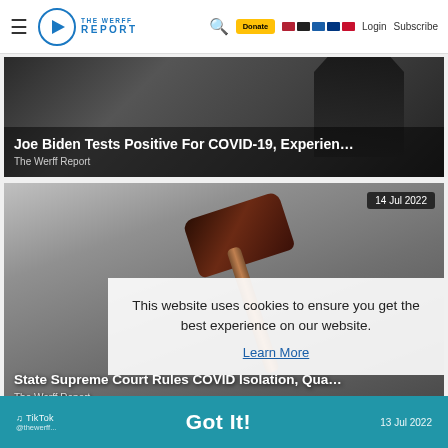The Werff Report — navigation bar with hamburger, logo, search, donate, flags, Login, Subscribe
[Figure (screenshot): Dark article card with silhouette of suited figure in background]
Joe Biden Tests Positive For COVID-19, Experien…
The Werff Report
[Figure (photo): Close-up photo of a wooden gavel resting on a surface, court/legal imagery]
14 Jul 2022
State Supreme Court Rules COVID Isolation, Qua…
The Werff Report
This website uses cookies to ensure you get the best experience on our website.
Learn More
Got It!
13 Jul 2022